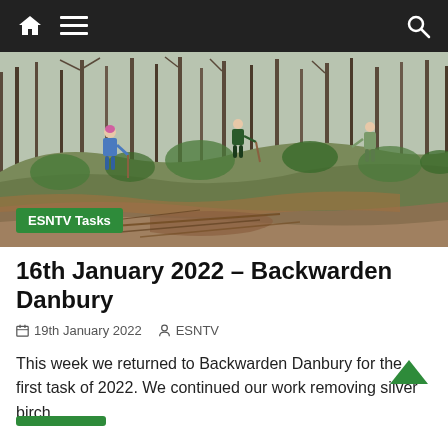Navigation bar with home, menu, and search icons
[Figure (photo): Outdoor woodland/heathland scene showing three people working among scrub vegetation, bare trees in background, cleared branches and debris on the ground. Winter scene.]
ESNTV Tasks
16th January 2022 – Backwarden Danbury
19th January 2022   ESNTV
This week we returned to Backwarden Danbury for the first task of 2022. We continued our work removing silver birch